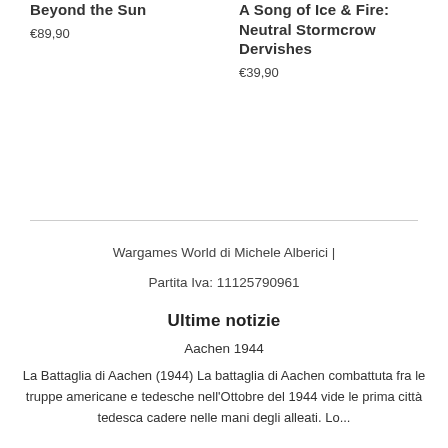Beyond the Sun
€89,90
A Song of Ice & Fire: Neutral Stormcrow Dervishes
€39,90
Wargames World di Michele Alberici |
Partita Iva: 11125790961
Ultime notizie
Aachen 1944
La Battaglia di Aachen (1944) La battaglia di Aachen combattuta fra le truppe americane e tedesche nell'Ottobre del 1944 vide le prima città tedesca cadere nelle mani degli alleati. Lo...